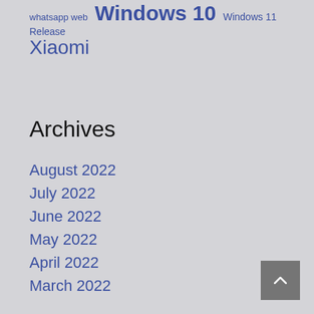whatsapp web
Windows 10
Windows 11 Release
Xiaomi
Archives
August 2022
July 2022
June 2022
May 2022
April 2022
March 2022
February 2022
January 2022